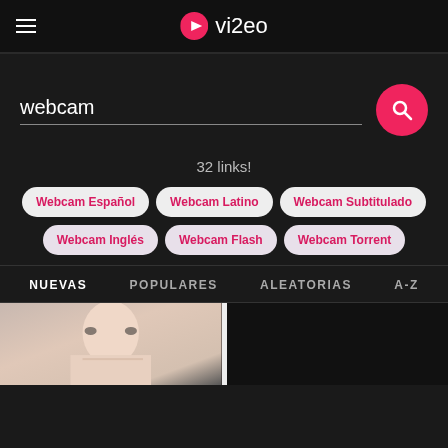vi2eo
webcam
32 links!
Webcam Español
Webcam Latino
Webcam Subtitulado
Webcam Inglés
Webcam Flash
Webcam Torrent
NUEVAS   POPULARES   ALEATORIAS   A-Z
[Figure (screenshot): Two video thumbnails: left shows a blonde woman, right is a dark/black frame]